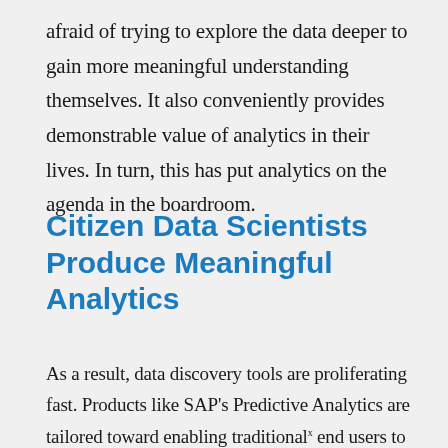afraid of trying to explore the data deeper to gain more meaningful understanding themselves. It also conveniently provides demonstrable value of analytics in their lives. In turn, this has put analytics on the agenda in the boardroom.
Citizen Data Scientists Produce Meaningful Analytics
As a result, data discovery tools are proliferating fast. Products like SAP's Predictive Analytics are tailored toward enabling traditional end users to